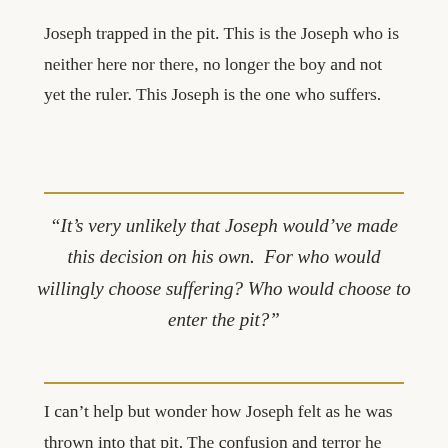Joseph trapped in the pit. This is the Joseph who is neither here nor there, no longer the boy and not yet the ruler. This Joseph is the one who suffers.
“It’s very unlikely that Joseph would’ve made this decision on his own. For who would willingly choose suffering? Who would choose to enter the pit?”
I can’t help but wonder how Joseph felt as he was thrown into that pit. The confusion and terror he must have felt during that moment. In an instant